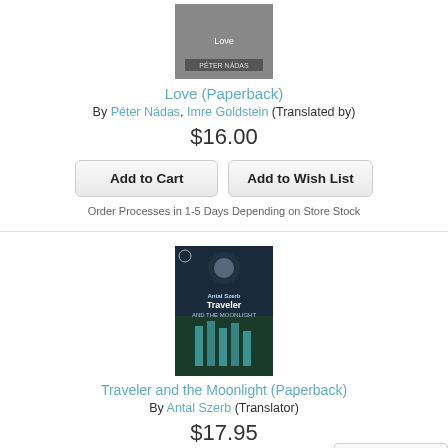[Figure (photo): Book cover for 'Love' paperback - black and white photo]
Love (Paperback)
By Péter Nádas, Imre Goldstein (Translated by)
$16.00
Add to Cart
Add to Wish List
Order Processes in 1-5 Days Depending on Store Stock
[Figure (photo): Book cover for 'Traveler and the Moonlight' by Antal Szerb - dark blue moonlit scene]
Traveler and the Moonlight (Paperback)
By Antal Szerb (Translator)
$17.95
Add to Cart
Add to Wish List